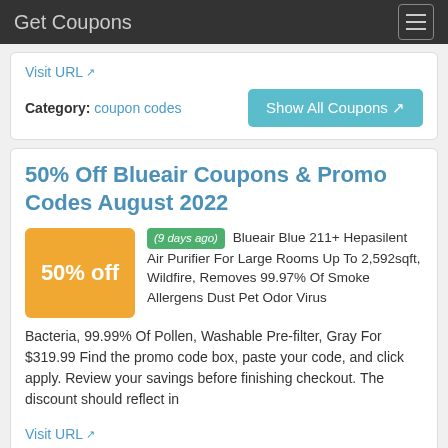Get Coupons
Visit URL
Category: coupon codes
50% Off Blueair Coupons & Promo Codes August 2022
(9 days ago) Blueair Blue 211+ Hepasilent Air Purifier For Large Rooms Up To 2,592sqft, Wildfire, Removes 99.97% Of Smoke Allergens Dust Pet Odor Virus Bacteria, 99.99% Of Pollen, Washable Pre-filter, Gray For $319.99 Find the promo code box, paste your code, and click apply. Review your savings before finishing checkout. The discount should reflect in
Visit URL
Category: coupon codes